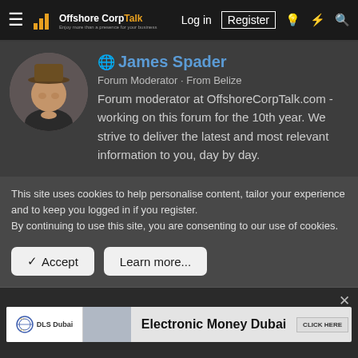OffshoreCorpTalk — Log in | Register
[Figure (screenshot): Profile of James Spader, Forum Moderator from Belize, with avatar photo of a man in a hat]
Forum moderator at OffshoreCorpTalk.com - working on this forum for the 10th year. We strive to deliver the latest and most relevant information to you, day by day.
This site uses cookies to help personalise content, tailor your experience and to keep you logged in if you register.
By continuing to use this site, you are consenting to our use of cookies.
✓ Accept    Learn more...
[Figure (screenshot): Advertisement banner for Electronic Money Dubai by DLS Dubai with CLICK HERE button]